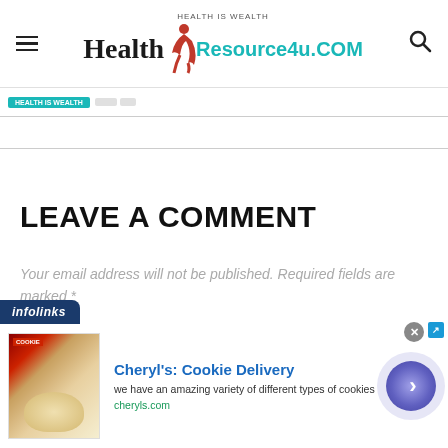Health Is Wealth — HealthResource4u.COM
LEAVE A COMMENT
Your email address will not be published. Required fields are marked *
[Figure (screenshot): Infolinks advertisement banner for Cheryl's Cookie Delivery with image of cookies, title, description, and call-to-action button]